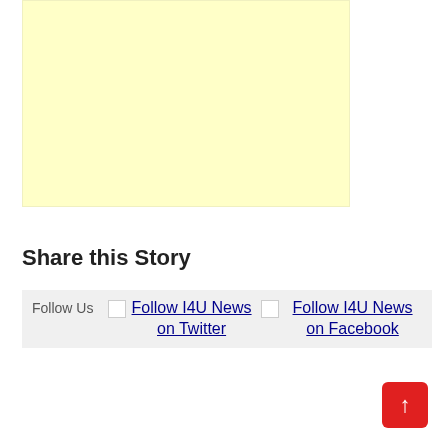[Figure (other): Yellow/cream colored advertisement block placeholder]
Share this Story
Follow Us   Follow I4U News on Twitter   Follow I4U News on Facebook